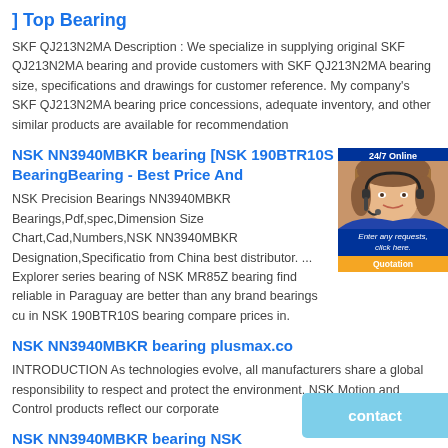] Top Bearing
SKF QJ213N2MA Description : We specialize in supplying original SKF QJ213N2MA bearing and provide customers with SKF QJ213N2MA bearing size, specifications and drawings for customer reference. My company's SKF QJ213N2MA bearing price concessions, adequate inventory, and other similar products are available for recommendation
NSK NN3940MBKR bearing [NSK 190BTR10S bearing] - BearingBearing - Best Price And
NSK Precision Bearings NN3940MBKR Bearings,Pdf,spec,Dimension Size Chart,Cad,Numbers,NSK NN3940MBKR Designation,Specification from China best distributor. ... Explorer series bearing of NSK MR85Z bearing find reliable in Paraguay are better than any brand bearings cu in NSK 190BTR10S bearing compare prices in.
[Figure (photo): Advertisement banner with 24/7 Online text, woman with headset, and Quotation button]
NSK NN3940MBKR bearing plusmax.co
INTRODUCTION As technologies evolve, all manufacturers share a global responsibility to respect and protect the environment. NSK Motion and Control products reflect our corporate
NSK NN3940MBKR bearing NSK NN3940MB bearing 200x280x60 | Cylindrical Roller
[Figure (other): Contact button in light blue]
NSK NN3940MB bearing: Hangzhou BFW Bearing Manufacturing Co., Ltd.